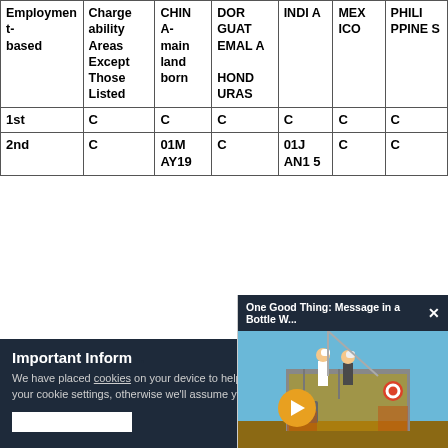| Employment-based | Chargeability Areas Except Those Listed | CHINA-mainland born | DOR GUATEMALA HONDURAS | INDIA | MEXICO | PHILIPPINES |
| --- | --- | --- | --- | --- | --- | --- |
| 1st | C | C | C | C | C | C |
| 2nd | C | 01MAY19 | C | 01JAN15 | C | C |
Important Information
We have placed cookies on your device to help make this website better. You can adjust your cookie settings, otherwise we'll assume you're okay to continue.
[Figure (screenshot): Video overlay thumbnail showing workers on an offshore platform. Header reads: One Good Thing: Message in a Bottle W...]